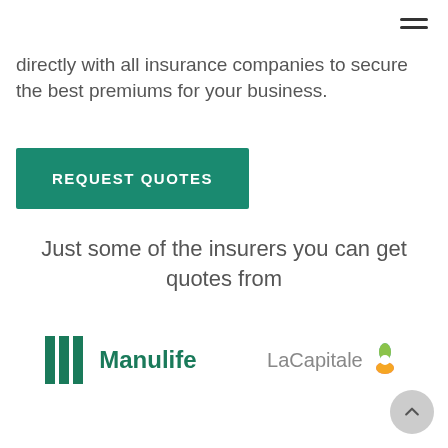[Figure (other): Hamburger menu icon (three horizontal lines) in the top-right corner]
directly with all insurance companies to secure the best premiums for your business.
[Figure (other): Green 'REQUEST QUOTES' button]
Just some of the insurers you can get quotes from
[Figure (logo): Manulife logo — three green vertical bars followed by 'Manulife' text in green]
[Figure (logo): La Capitale logo — grey 'LaCapitale' text with colorful flower icon]